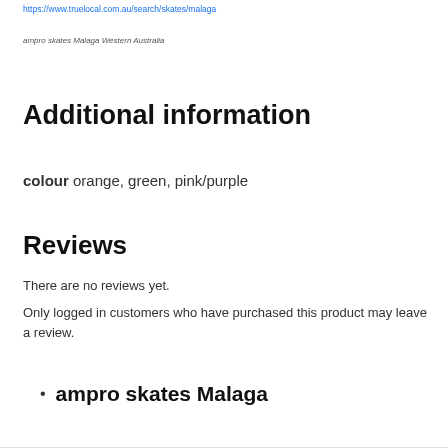https://www.truelocal.com.au/search/skates/malaga
ampro skates Malaga Western Australia
Additional information
colour orange, green, pink/purple
Reviews
There are no reviews yet.
Only logged in customers who have purchased this product may leave a review.
ampro skates Malaga